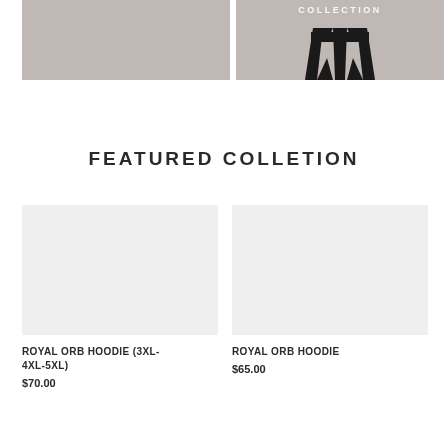[Figure (photo): Gray placeholder image for a product, left column, top banner]
[Figure (photo): Gray placeholder image with dark geometric logo/straps design and 'COLLECTION' text overlay, right column, top banner]
FEATURED COLLETION
[Figure (photo): Light gray placeholder product image for Royal Orb Hoodie (3XL-4XL-5XL)]
ROYAL ORB HOODIE (3XL-4XL-5XL)
$70.00
[Figure (photo): Light gray placeholder product image for Royal Orb Hoodie]
ROYAL ORB HOODIE
$65.00